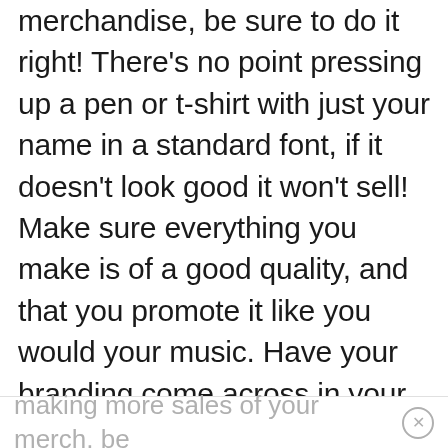merchandise, be sure to do it right! There's no point pressing up a pen or t-shirt with just your name in a standard font, if it doesn't look good it won't sell! Make sure everything you make is of a good quality, and that you promote it like you would your music. Have your branding come across in your merch, but not so much that people are turned off from wearing it. Make it attractive to people whether they know who you are or not. THAT is when you'll start making more sales. If you want other tips on
making more sales of your merch, be